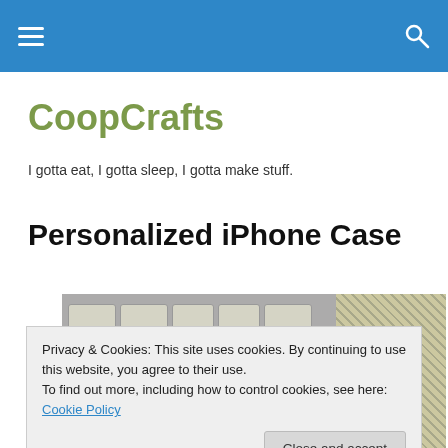CoopCrafts — navigation bar with hamburger menu and search icon
CoopCrafts
I gotta eat, I gotta sleep, I gotta make stuff.
Personalized iPhone Case
[Figure (photo): Photo showing keyboard keys (O, P, I, L etc.) in the top portion and colorful craft supplies in the bottom strip, with a dot-patterned section on the right.]
Privacy & Cookies: This site uses cookies. By continuing to use this website, you agree to their use.
To find out more, including how to control cookies, see here: Cookie Policy
Close and accept